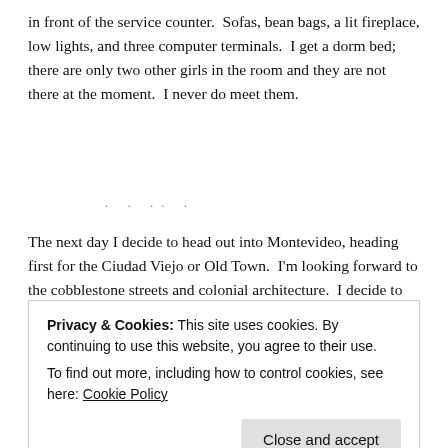in front of the service counter. Sofas, bean bags, a lit fireplace, low lights, and three computer terminals. I get a dorm bed; there are only two other girls in the room and they are not there at the moment. I never do meet them.
The next day I decide to head out into Montevideo, heading first for the Ciudad Viejo or Old Town. I'm looking forward to the cobblestone streets and colonial architecture. I decide to walk the whole way, a few dozen blocks is not too much for
Privacy & Cookies: This site uses cookies. By continuing to use this website, you agree to their use.
To find out more, including how to control cookies, see here: Cookie Policy
the capital of the country, where at least half of the 3.5 million